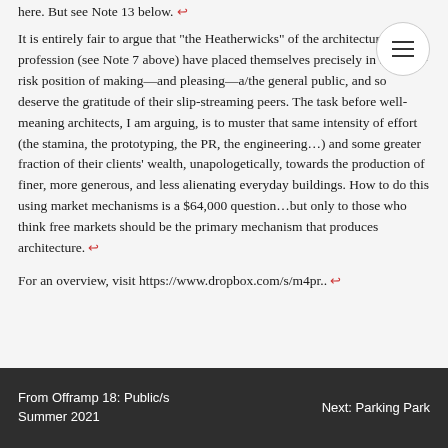here. But see Note 13 below. ↩
It is entirely fair to argue that "the Heatherwicks" of the architectural profession (see Note 7 above) have placed themselves precisely in the high-risk position of making—and pleasing—a/the general public, and so deserve the gratitude of their slip-streaming peers. The task before well-meaning architects, I am arguing, is to muster that same intensity of effort (the stamina, the prototyping, the PR, the engineering…) and some greater fraction of their clients' wealth, unapologetically, towards the production of finer, more generous, and less alienating everyday buildings. How to do this using market mechanisms is a $64,000 question…but only to those who think free markets should be the primary mechanism that produces architecture. ↩
For an overview, visit https://www.dropbox.com/s/m4pr.. ↩
From Offramp 18: Public/s Summer 2021 | Next: Parking Park